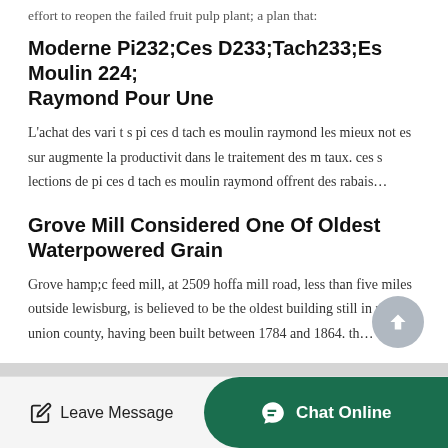effort to reopen the failed fruit pulp plant; a plan that:
Moderne Pi232;Ces D233;Tach233;Es Moulin 224; Raymond Pour Une
L'achat des vari t s pi ces d tach es moulin raymond les mieux not es sur augmente la productivit dans le traitement des m taux. ces s lections de pi ces d tach es moulin raymond offrent des rabais…
Grove Mill Considered One Of Oldest Waterpowered Grain
Grove hamp;c feed mill, at 2509 hoffa mill road, less than five miles outside lewisburg, is believed to be the oldest building still in use in union county, having been built between 1784 and 1864. th…
Leave Message   Chat Online